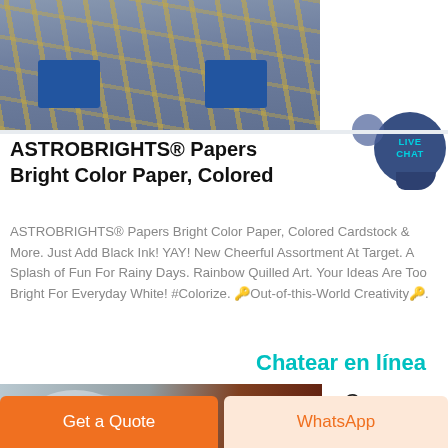[Figure (photo): Industrial machinery with yellow metal framework and blue equipment, viewed from below]
ASTROBRIGHTS® Papers Bright Color Paper, Colored
ASTROBRIGHTS® Papers Bright Color Paper, Colored Cardstock & More. Just Add Black Ink! YAY! New Cheerful Assortment At Target. A Splash of Fun For Rainy Days. Rainbow Quilled Art. Your Ideas Are Too Bright For Everyday White! #Colorize. 🔑Out-of-this-World Creativity🔑.
Chatear en línea
[Figure (photo): Industrial machinery with silver/grey cylindrical equipment and red machinery]
Copy & Printer
Get a Quote
WhatsApp